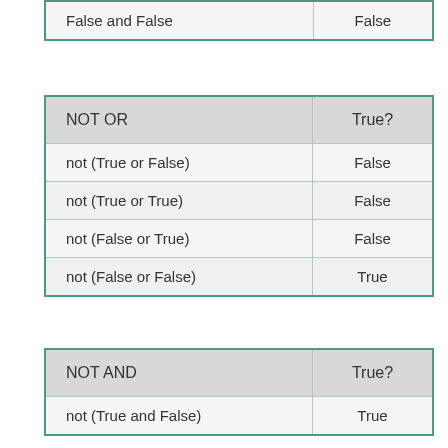|  |  |
| --- | --- |
| False and False | False |
| NOT OR | True? |
| --- | --- |
| not (True or False) | False |
| not (True or True) | False |
| not (False or True) | False |
| not (False or False) | True |
| NOT AND | True? |
| --- | --- |
| not (True and False) | True |